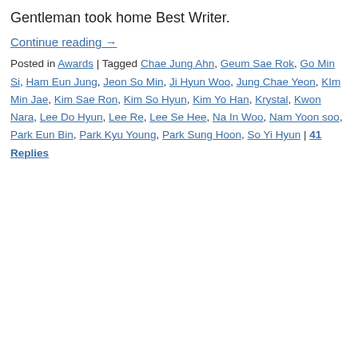Gentleman took home Best Writer.
Continue reading →
Posted in Awards | Tagged Chae Jung Ahn, Geum Sae Rok, Go Min Si, Ham Eun Jung, Jeon So Min, Ji Hyun Woo, Jung Chae Yeon, KIm Min Jae, Kim Sae Ron, Kim So Hyun, Kim Yo Han, Krystal, Kwon Nara, Lee Do Hyun, Lee Re, Lee Se Hee, Na In Woo, Nam Yoon soo, Park Eun Bin, Park Kyu Young, Park Sung Hoon, So Yi Hyun | 41 Replies